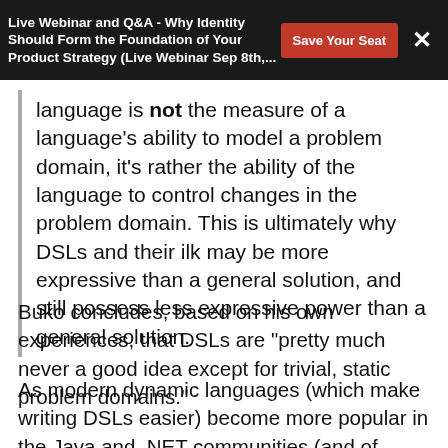Live Webinar and Q&A - Why Identity Should Form the Foundation of Your Product Strategy (Live Webinar Sep 8th,...
language is not the measure of a language's ability to model a problem domain, it's rather the ability of the language to control changes in the problem domain. This is ultimately why DSLs and their ilk may be more expressive than a general solution, and still possess less expressive power than a general solution.
Buko concludes, based on his own experiences, that DSLs are "pretty much never a good idea except for trivial, static problem domains."
As modern dynamic languages (which make writing DSLs easier) become more popular in the Java and .NET communities (and of course Ruby is it's own), the idea of DSLs will certainly become a topic of greater discussion. Where do you stand?